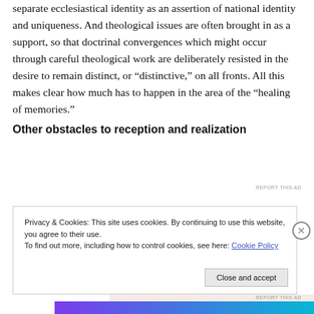separate ecclesiastical identity as an assertion of national identity and uniqueness. And theological issues are often brought in as a support, so that doctrinal convergences which might occur through careful theological work are deliberately resisted in the desire to remain distinct, or “distinctive,” on all fronts. All this makes clear how much has to happen in the area of the “healing of memories.”
Other obstacles to reception and realization
[Figure (screenshot): Advertisement banner with text 'and on a budget?' and a bold W logo on a beige/pink background]
REPORT THIS AD
Privacy & Cookies: This site uses cookies. By continuing to use this website, you agree to their use.
To find out more, including how to control cookies, see here: Cookie Policy
Close and accept